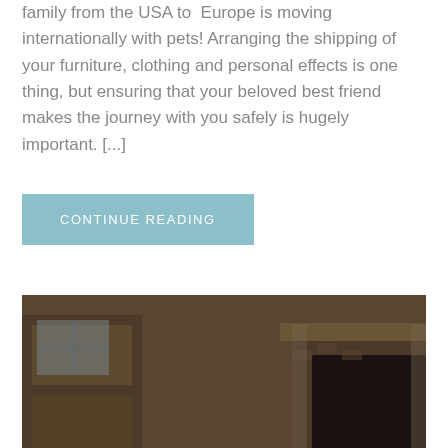family from the USA to Europe is moving internationally with pets! Arranging the shipping of your furniture, clothing and personal effects is one thing, but ensuring that your beloved best friend makes the journey with you safely is hugely important. [...]
CONTINUE READING
[Figure (photo): A dog lying on a carpet chewing on a shoe, with a fireplace and wooden furniture in the background. The dog appears to be a beagle mix with black, white, and brown coloring.]